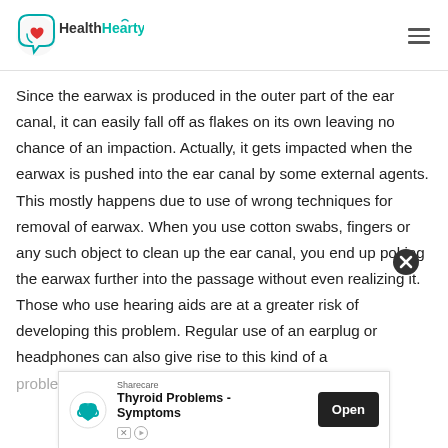HealthHearty
Since the earwax is produced in the outer part of the ear canal, it can easily fall off as flakes on its own leaving no chance of an impaction. Actually, it gets impacted when the earwax is pushed into the ear canal by some external agents. This mostly happens due to use of wrong techniques for removal of earwax. When you use cotton swabs, fingers or any such object to clean up the ear canal, you end up poking the earwax further into the passage without even realizing it. Those who use hearing aids are at a greater risk of developing this problem. Regular use of an earplug or headphones can also give rise to this kind of a problem.
[Figure (other): Advertisement banner: Sharecare - Thyroid Problems - Symptoms, with Open button]